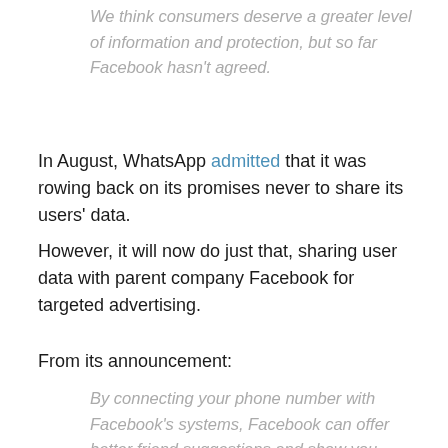We think consumers deserve a greater level of information and protection, but so far Facebook hasn't agreed.
In August, WhatsApp admitted that it was rowing back on its promises never to share its users' data.
However, it will now do just that, sharing user data with parent company Facebook for targeted advertising.
From its announcement:
By connecting your phone number with Facebook's systems, Facebook can offer better friend suggestions and show you more relevant ads if you have an account with